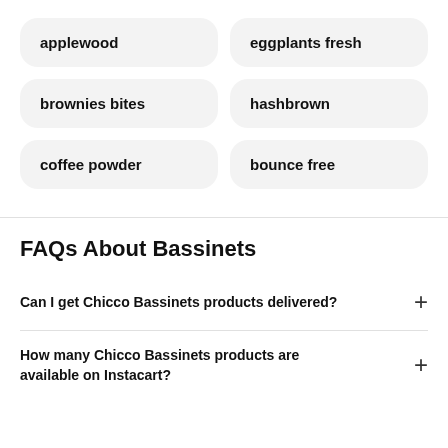applewood
eggplants fresh
brownies bites
hashbrown
coffee powder
bounce free
FAQs About Bassinets
Can I get Chicco Bassinets products delivered?
How many Chicco Bassinets products are available on Instacart?